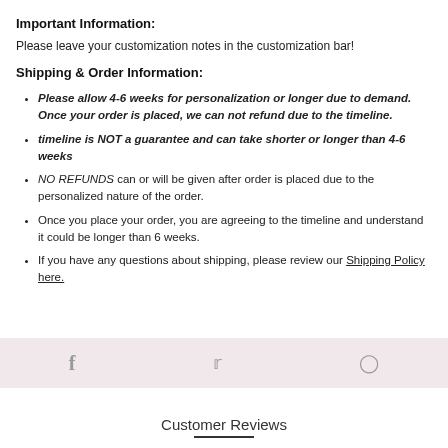Important Information:
Please leave your customization notes in the customization bar!
Shipping & Order Information:
Please allow 4-6 weeks for personalization or longer due to demand. Once your order is placed, we can not refund due to the timeline.
timeline is NOT a guarantee and can take shorter or longer than 4-6 weeks
NO REFUNDS can or will be given after order is placed due to the personalized nature of the order.
Once you place your order, you are agreeing to the timeline and understand it could be longer than 6 weeks.
If you have any questions about shipping, please review our Shipping Policy here.
[Figure (infographic): Social media icon bar with Facebook, Twitter, and Pinterest icons on a light pink background]
Customer Reviews